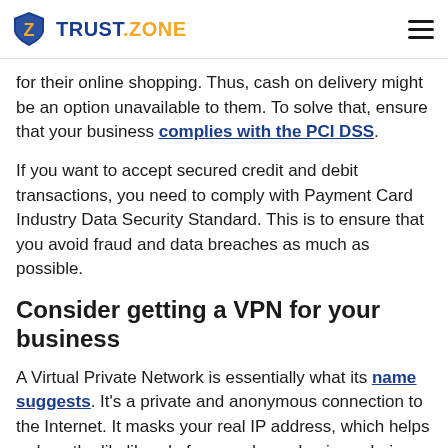TRUST.ZONE
for their online shopping. Thus, cash on delivery might be an option unavailable to them. To solve that, ensure that your business complies with the PCI DSS.
If you want to accept secured credit and debit transactions, you need to comply with Payment Card Industry Data Security Standard. This is to ensure that you avoid fraud and data breaches as much as possible.
Consider getting a VPN for your business
A Virtual Private Network is essentially what its name suggests. It's a private and anonymous connection to the Internet. It masks your real IP address, which helps reduce the likelihood of you and your business being subject to cyberthreats.